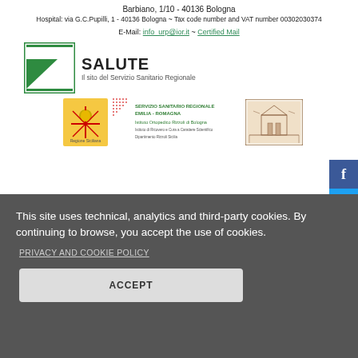Barbiano, 1/10 - 40136 Bologna
Hospital: via G.C.Pupilli, 1 - 40136 Bologna ~ Tax code number and VAT number 00302030374
E-Mail: info_urp@ior.it ~ Certified Mail
[Figure (logo): Salute - Il sito del Servizio Sanitario Regionale logo with green square icon]
[Figure (logo): Regione Siciliana coat of arms, SERVIZIO SANITARIO REGIONALE EMILIA-ROMAGNA logo with Istituto Ortopedico Rizzoli di Bologna text, and a vintage engraving illustration]
[Figure (other): Social media buttons: Facebook (blue), Twitter (light blue), YouTube (red)]
This site uses technical, analytics and third-party cookies. By continuing to browse, you accept the use of cookies.
PRIVACY AND COOKIE POLICY
ACCEPT